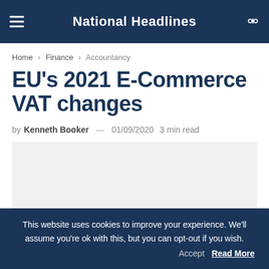National Headlines
Home › Finance › Accountancy
EU's 2021 E-Commerce VAT changes
by Kenneth Booker — 01/09/2020 3 min read
[Figure (photo): Article image placeholder (light grey rectangle)]
This website uses cookies to improve your experience. We'll assume you're ok with this, but you can opt-out if you wish. Accept Read More